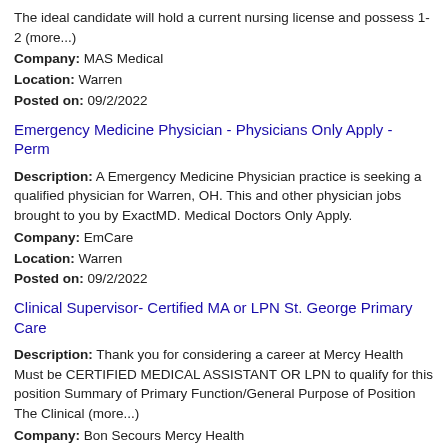The ideal candidate will hold a current nursing license and possess 1-2 (more...)
Company: MAS Medical
Location: Warren
Posted on: 09/2/2022
Emergency Medicine Physician - Physicians Only Apply - Perm
Description: A Emergency Medicine Physician practice is seeking a qualified physician for Warren, OH. This and other physician jobs brought to you by ExactMD. Medical Doctors Only Apply.
Company: EmCare
Location: Warren
Posted on: 09/2/2022
Clinical Supervisor- Certified MA or LPN St. George Primary Care
Description: Thank you for considering a career at Mercy Health Must be CERTIFIED MEDICAL ASSISTANT OR LPN to qualify for this position Summary of Primary Function/General Purpose of Position The Clinical (more...)
Company: Bon Secours Mercy Health
Location: Warren
Posted on: 09/2/2022